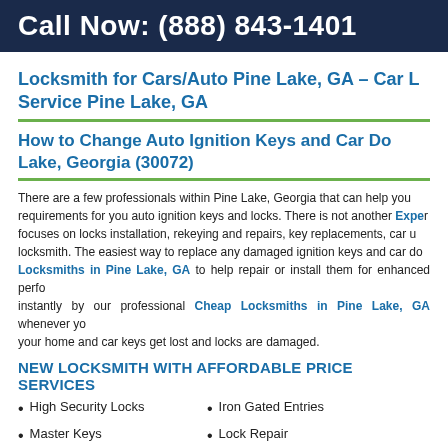Call Now: (888) 843-1401
Locksmith for Cars/Auto Pine Lake, GA – Car Service Pine Lake, GA
How to Change Auto Ignition Keys and Car Doors Keys in Pine Lake, Georgia (30072)
There are a few professionals within Pine Lake, Georgia that can help you requirements for you auto ignition keys and locks. There is not another Expert focuses on locks installation, rekeying and repairs, key replacements, car u locksmith. The easiest way to replace any damaged ignition keys and car do Locksmiths in Pine Lake, GA to help repair or install them for enhanced perfo instantly by our professional Cheap Locksmiths in Pine Lake, GA whenever yo your home and car keys get lost and locks are damaged.
NEW LOCKSMITH WITH AFFORDABLE PRICE SERVICES
High Security Locks
Iron Gated Entries
Master Keys
Lock Repair
AUTO IGNITION KEYS AND CAR DOORS KEYS IN PINE